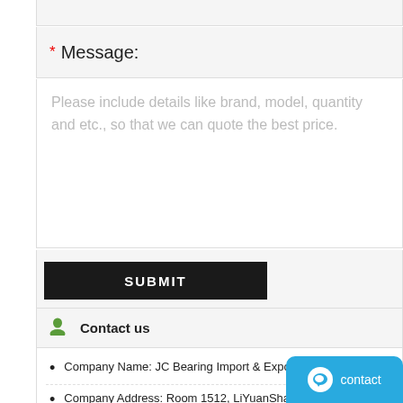* Message:
Please include details like brand, model, quantity and etc., so that we can quote the best price.
SUBMIT
Contact us
Company Name: JC Bearing Import & Export Co., LTD
Company Address: Room 1512, LiYuanShangMao, LanTian Road, Haishu District, Shanghai, Ch...